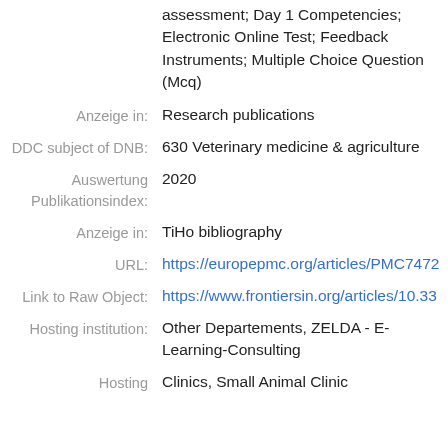assessment; Day 1 Competencies; Electronic Online Test; Feedback Instruments; Multiple Choice Question (Mcq)
Anzeige in: Research publications
DDC subject of DNB: 630 Veterinary medicine & agriculture
Auswertung Publikationsindex: 2020
Anzeige in: TiHo bibliography
URL: https://europepmc.org/articles/PMC7472
Link to Raw Object: https://www.frontiersin.org/articles/10.33
Hosting institution: Other Departements, ZELDA - E-Learning-Consulting
Hosting: Clinics, Small Animal Clinic